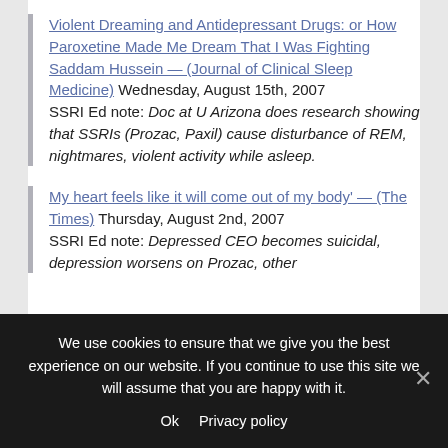Violent Dreaming and Antidepressant Drugs: or How Paroxetine Made Me Dream That I Was Fighting Saddam Hussein — (Journal of Clinical Sleep Medicine) Wednesday, August 15th, 2007
SSRI Ed note: Doc at U Arizona does research showing that SSRIs (Prozac, Paxil) cause disturbance of REM, nightmares, violent activity while asleep.
My heart feels like it will come out of my body' — (The Times) Thursday, August 2nd, 2007
SSRI Ed note: Depressed CEO becomes suicidal, depression worsens on Prozac, other
We use cookies to ensure that we give you the best experience on our website. If you continue to use this site we will assume that you are happy with it.
Ok   Privacy policy